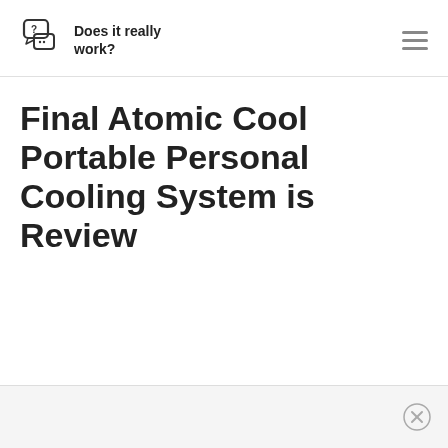Does it really work?
Final Atomic Cool Portable Personal Cooling System is Review